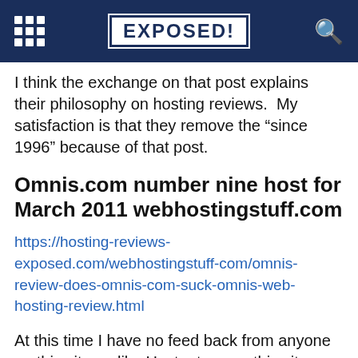EXPOSED!
I think the exchange on that post explains their philosophy on hosting reviews.  My satisfaction is that they remove the “since 1996” because of that post.
Omnis.com number nine host for March 2011 webhostingstuff.com
https://hosting-reviews-exposed.com/webhostingstuff-com/omnis-review-does-omnis-com-suck-omnis-web-hosting-review.html
At this time I have no feed back from anyone on this site, unlike Hostgator.com this site appears to get regular hosting reviews.
Omnis.com number...